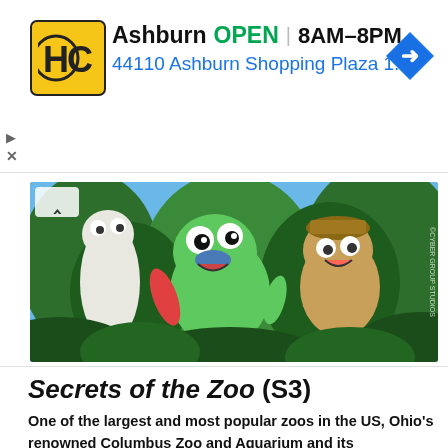[Figure (infographic): Ad banner for Home Depot Ashburn location showing logo, OPEN status, hours 8AM-8PM, address 44110 Ashburn Shopping Plaza 1., and a blue navigation arrow diamond icon]
[Figure (illustration): Animated cartoon characters - colorful jungle creatures including a green frog-like character with big eyes and other fantastical animals in a lush green jungle setting. Copyright Cyber Group Studios watermark visible on right side.]
Secrets of the Zoo (S3)
One of the largest and most popular zoos in the US, Ohio's renowned Columbus Zoo and Aquarium and its conservation park The Wilds, houses more than 10,000 animals on 12,000 acres. It's also the part-time home of beloved wildlife guru Jack Hanna, the zoo's director emeritus. Now, Nat Geo Wild is taking viewers inside the grounds and allowing them to experience what visitors